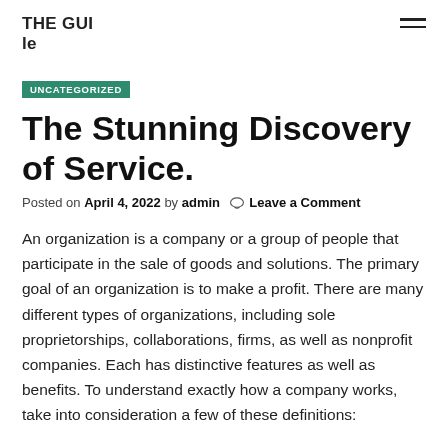THE GUIle
UNCATEGORIZED
The Stunning Discovery of Service.
Posted on April 4, 2022 by admin  Leave a Comment
An organization is a company or a group of people that participate in the sale of goods and solutions. The primary goal of an organization is to make a profit. There are many different types of organizations, including sole proprietorships, collaborations, firms, as well as nonprofit companies. Each has distinctive features as well as benefits. To understand exactly how a company works, take into consideration a few of these definitions: